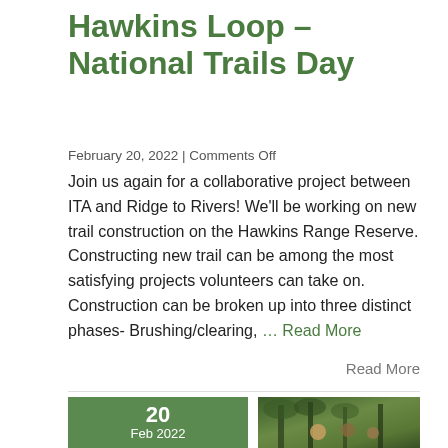Hawkins Loop – National Trails Day
February 20, 2022 | Comments Off
Join us again for a collaborative project between ITA and Ridge to Rivers! We'll be working on new trail construction on the Hawkins Range Reserve. Constructing new trail can be among the most satisfying projects volunteers can take on. Construction can be broken up into three distinct phases- Brushing/clearing, ... Read More
Read More
[Figure (photo): Date badge showing '20 Feb 2022' in green square, next to a photo of people in hard hats working in a forest]
20 Feb 2022